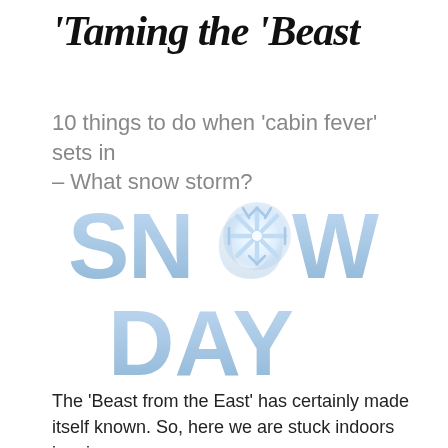'Taming the 'Beast
10 things to do when 'cabin fever' sets in – What snow storm?
[Figure (illustration): Stylized 'SNOW DAY' text graphic in light blue with a glowing white snowflake replacing the 'O' in SNOW]
The 'Beast from the East' has certainly made itself known. So, here we are stuck indoors in minus